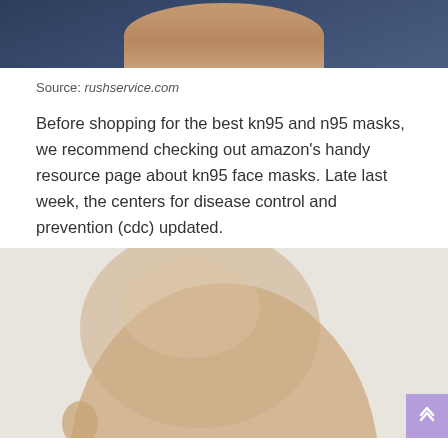[Figure (photo): Top portion of a person wearing a dark navy blue polo shirt, showing neck and lower face area, cropped at top]
Source: rushservice.com
Before shopping for the best kn95 and n95 masks, we recommend checking out amazon's handy resource page about kn95 face masks. Late last week, the centers for disease control and prevention (cdc) updated.
[Figure (photo): A beige/skin-toned mannequin head, bald, shown from slightly above, cropped at bottom of frame. A small purple scroll-to-top button appears in the bottom right corner.]